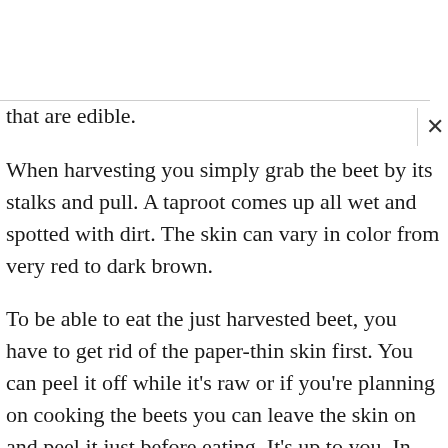that are edible.
When harvesting you simply grab the beet by its stalks and pull. A taproot comes up all wet and spotted with dirt. The skin can vary in color from very red to dark brown.
To be able to eat the just harvested beet, you have to get rid of the paper-thin skin first. You can peel it off while it's raw or if you're planning on cooking the beets you can leave the skin on and peel it just before eating. It's up to you. In any case your fingers will get stained in the